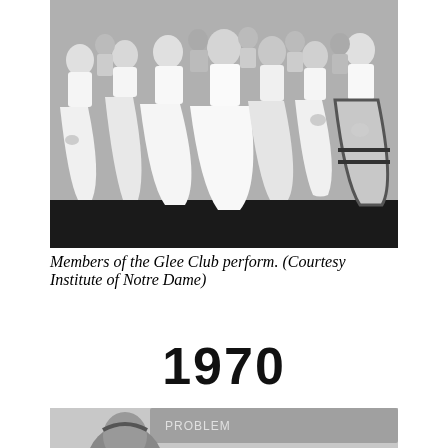[Figure (photo): Black and white photograph of members of the Glee Club performing on stage, wearing white blouses and full skirts, some holding flowers.]
Members of the Glee Club perform. (Courtesy Institute of Notre Dame)
1970
[Figure (photo): Black and white photograph showing a student in a classroom setting, wearing a headband, leaning over a desk. A chalkboard is visible in the background with partial text 'PROBLEM'.]